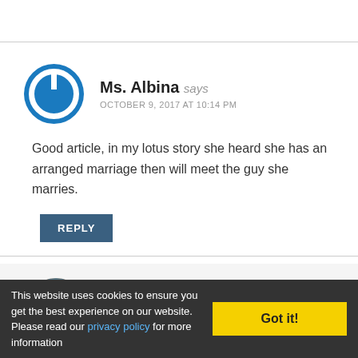Ms. Albina says
OCTOBER 9, 2017 AT 10:14 PM
Good article, in my lotus story she heard she has an arranged marriage then will meet the guy she marries.
REPLY
K.M. Weiland | @KMWeiland says
OCTOBER 10, 2017 AT 10:01 AM
Glad you enjoyed the post!
This website uses cookies to ensure you get the best experience on our website. Please read our privacy policy for more information